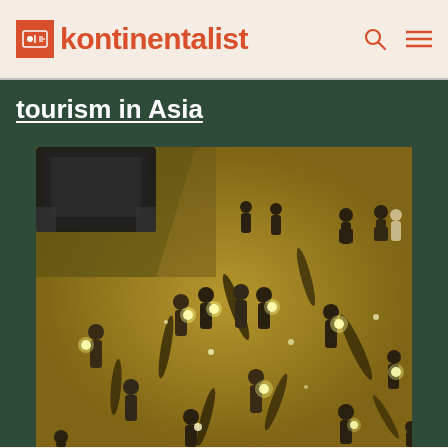kontinentalist
tourism in Asia
[Figure (photo): Aerial view from above of a crowd of people walking on a yellow-lit street at night, casting long shadows. Several people hold glowing lights. A dark car is visible in the upper left corner.]